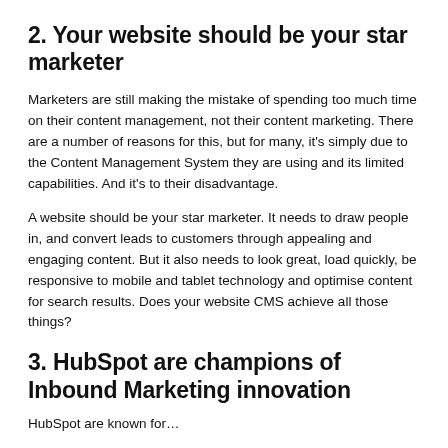2. Your website should be your star marketer
Marketers are still making the mistake of spending too much time on their content management, not their content marketing. There are a number of reasons for this, but for many, it's simply due to the Content Management System they are using and its limited capabilities. And it's to their disadvantage.
A website should be your star marketer. It needs to draw people in, and convert leads to customers through appealing and engaging content. But it also needs to look great, load quickly, be responsive to mobile and tablet technology and optimise content for search results. Does your website CMS achieve all those things?
3. HubSpot are champions of Inbound Marketing innovation
HubSpot are known for…